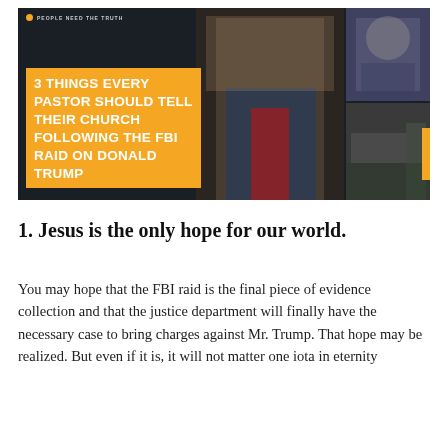[Figure (photo): Dark banner image showing Donald Trump (center-left), Merrick Garland (top-right), FBI raid scene with armored vehicle and agent (bottom-right), with an orange overlay box reading '3 THINGS EVERY PASTOR SHOULD TELL THEIR CHURCH FOLLOWING THE FBI RAID ON DONALD TRUMP' and a small 'PEOPLE NEED THE TRUTH' logo at top-left.]
1. Jesus is the only hope for our world.
You may hope that the FBI raid is the final piece of evidence collection and that the justice department will finally have the necessary case to bring charges against Mr. Trump. That hope may be realized. But even if it is, it will not matter one iota in eternity